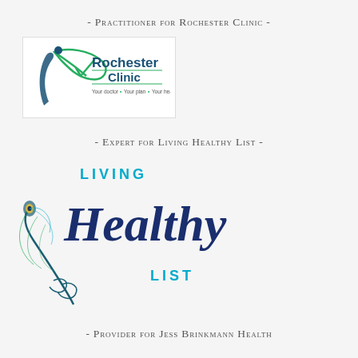- Practitioner for Rochester Clinic -
[Figure (logo): Rochester Clinic logo with figure, green check swoosh, and tagline 'Your doctor. Your plan. Your health']
- Expert for Living Healthy List -
[Figure (logo): Living Healthy List logo with peacock feather and script lettering]
- Provider for Jess Brinkmann Health